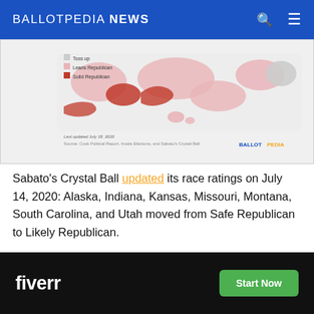BALLOTPEDIA NEWS
[Figure (map): US Senate race ratings map showing Toss up (grey), Leans Republican (light red/pink), and Solid Republican (dark red) states. Source: Cook Political Report, Inside Elections, and Sabato's Crystal Ball. Last updated July 18, 2020. BALLOTPEDIA branding in bottom right.]
Sabato's Crystal Ball updated its race ratings on July 14, 2020: Alaska, Indiana, Kansas, Missouri, Montana, South Carolina, and Utah moved from Safe Republican to Likely Republican.
Notable Quotes of the Day
“Like... competitive. But Republican presidential nominees
[Figure (other): Fiverr advertisement banner with dark background, Fiverr logo in white, and a green 'Start Now' button]